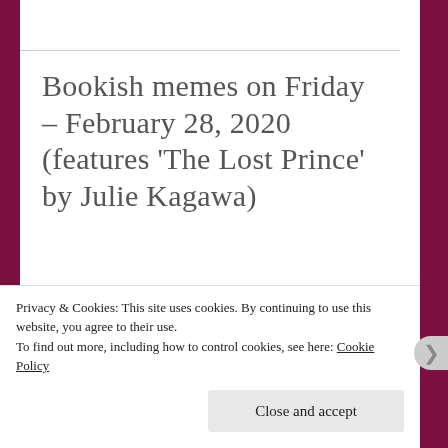Bookish memes on Friday – February 28, 2020 (features 'The Lost Prince' by Julie Kagawa)
[Figure (illustration): Book icon centered between two dark red horizontal bars, with blog name 'Journey in Bookland' below]
Privacy & Cookies: This site uses cookies. By continuing to use this website, you agree to their use. To find out more, including how to control cookies, see here: Cookie Policy
Close and accept